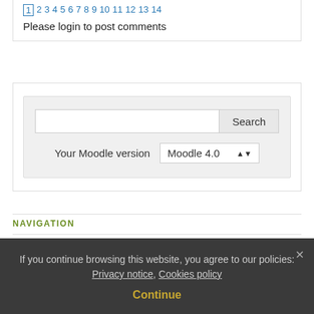1 2 3 4 5 6 7 8 9 10 11 12 13 14
Please login to post comments
[Figure (screenshot): Search widget with text input and Search button, plus Your Moodle version dropdown showing Moodle 4.0]
NAVIGATION
Home
If you continue browsing this website, you agree to our policies: Privacy notice, Cookies policy
Continue